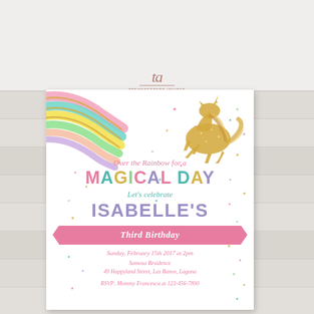[Figure (illustration): Wood plank background with light gray/white horizontal boards]
[Figure (logo): Cursive 'ta' script logo for a stationery/invitation company, in rose gold/brown color]
[Figure (illustration): Birthday party invitation card with white background, scattered colorful stars and hearts confetti, pastel rainbow with gold glitter stripes in top-left, gold glitter unicorn silhouette in top-right, and party text details for Isabelle's Third Birthday]
Over the Rainbow for a
MAGICAL DAY
Let's celebrate
ISABELLE'S
Third Birthday
Sunday, February 15th 2017 at 2pm
Samosa Residence
49 Happyland Street, Las Banos, Laguna
RSVP: Mommy Francesca at 123-456-7890